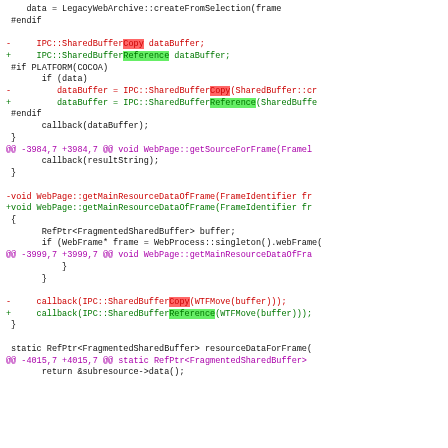[Figure (screenshot): A code diff view showing changes in C++ source code, replacing IPC::SharedBufferCopy with IPC::SharedBufferReference in multiple locations across WebPage functions.]